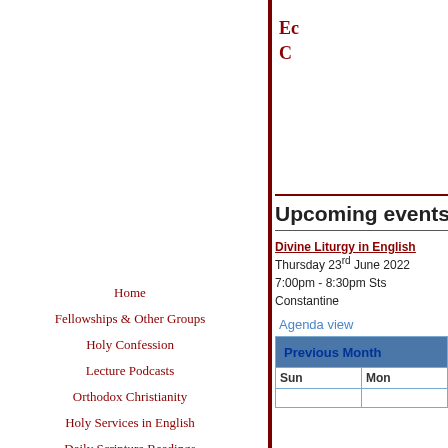Home
Fellowships & Other Groups
Holy Confession
Lecture Podcasts
Orthodox Christianity
Holy Services in English
Daily Scripture Readings
Events, lectures & Activities
Monthly Church programmes
Panagia Gorgoepikoos Monastery
Ec
C
Upcoming events, N
Divine Liturgy in English
Thursday 23rd June 2022
7:00pm - 8:30pm Sts Constantine
Agenda view
| Previous Month |
| --- |
| Sun | Mon |